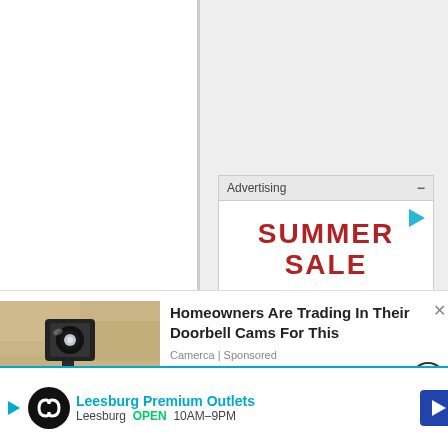Advertising
[Figure (screenshot): Summer Sale advertisement with red bold text reading SUMMER SALE and italic Through below]
[Figure (photo): Photo of an outdoor wall-mounted light fixture / security camera on a tan stucco wall]
Homeowners Are Trading In Their Doorbell Cams For This
Camerca | Sponsored
for
Leesburg Premium Outlets
Leesburg OPEN 10AM–9PM